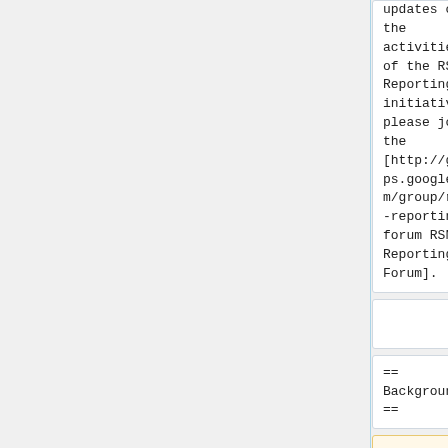updates on the activities of the RSNA Reporting initiative, please join the [http://groups.google.com/group/rsna-reporting-forum RSNA Reporting Forum].
updates on the activities of the RSNA Reporting initiative, please join the [http://groups.google.com/group/rsna-reporting-forum RSNA Reporting Forum].
== Background ==
== Background ==